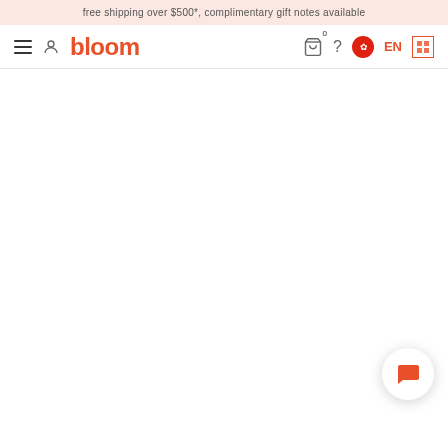free shipping over $500*, complimentary gift notes available
[Figure (screenshot): Bloom e-commerce website header navigation with hamburger menu, user icon, bloom logo in orange/red, cart icon with 0 badge, help icon, Hong Kong flag, EN language toggle, and Chinese character language toggle]
[Figure (other): Orange/red chat bubble icon button in bottom right corner on white circular background with shadow]